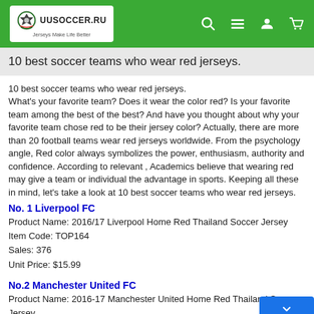uusoccer.ru — Jerseys Make Life Better
10 best soccer teams who wear red jerseys.
10 best soccer teams who wear red jerseys. What's your favorite team? Does it wear the color red? Is your favorite team among the best of the best? And have you thought about why your favorite team chose red to be their jersey color? Actually, there are more than 20 football teams wear red jerseys worldwide. From the psychology angle, Red color always symbolizes the power, enthusiasm, authority and confidence. According to relevant , Academics believe that wearing red may give a team or individual the advantage in sports. Keeping all these in mind, let's take a look at 10 best soccer teams who wear red jerseys.
No. 1 Liverpool FC
Product Name: 2016/17 Liverpool Home Red Thailand Soccer Jersey
Item Code: TOP164
Sales: 376
Unit Price: $15.99
No.2 Manchester United FC
Product Name: 2016-17 Manchester United Home Red Thailand Soccer Jersey